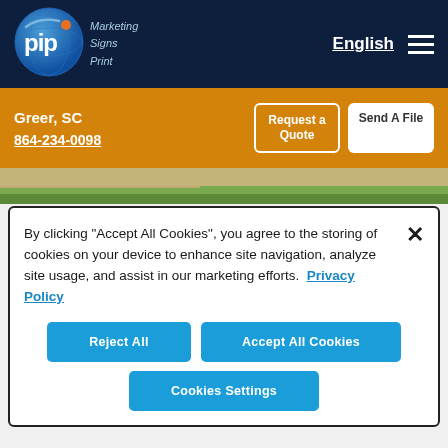[Figure (logo): PIP Marketing Signs Print logo - circular blue globe with 'pip' text in white and tagline 'Marketing Signs Print' in light blue text]
English
Greer, SC
864-234-0098
Request a Quote
Send A File
[Figure (photo): Outdoor photo strip showing road, grass and sidewalk]
CUSTOMER REVIEWS
By clicking “Accept All Cookies”, you agree to the storing of cookies on your device to enhance site navigation, analyze site usage, and assist in our marketing efforts. Privacy Policy
Reject All
Accept All Cookies
Cookies Settings